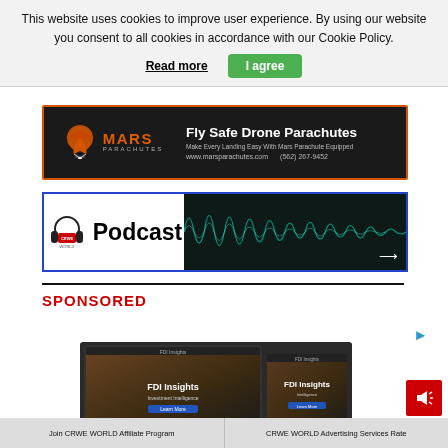This website uses cookies to improve user experience. By using our website you consent to all cookies in accordance with our Cookie Policy.
Read more
I agree
[Figure (illustration): Mars Parachutes advertisement banner: black background with orange border, Mars Parachutes logo (orange parachute icon), headline 'Fly Safe Drone Parachutes', tagline 'Make Every Landing Easy With Mars Parachute Equipped', website www.marsparachutes.com, phone (562) 267-9452]
[Figure (illustration): CRWE WORLD Podcast banner with headphones icon on white left panel, and audio waveform visualization on dark right panel with arrow icon]
SPONSORED
[Figure (screenshot): FDI Insights website screenshot shown on laptop and tablet devices]
Join CRWE WORLD Affiliate Program
CRWE WORLD Advertising Services Rate